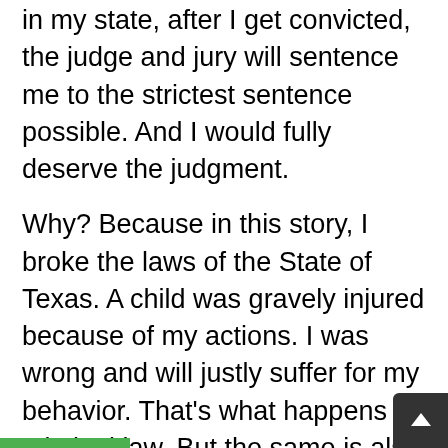in my state, after I get convicted, the judge and jury will sentence me to the strictest sentence possible. And I would fully deserve the judgment.
Why? Because in this story, I broke the laws of the State of Texas. A child was gravely injured because of my actions. I was wrong and will justly suffer for my behavior. That's what happens in criminal law. But the same is also true in spiritual law.
Living In God's World Under God's Law
We live in God's world. He set up the world in such a way for it be to run according to his ways – or law. Though things started perfect in the Garden of Eden, it didn't stay that way long. One